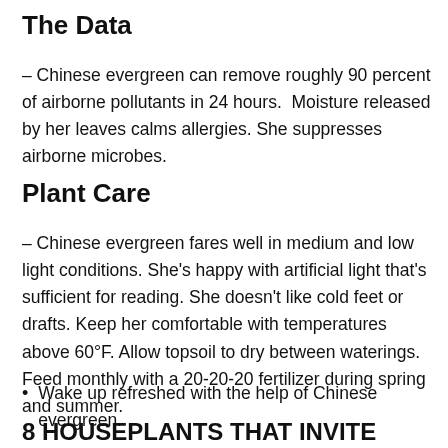The Data
– Chinese evergreen can remove roughly 90 percent of airborne pollutants in 24 hours.  Moisture released by her leaves calms allergies. She suppresses airborne microbes.
Plant Care
– Chinese evergreen fares well in medium and low light conditions. She's happy with artificial light that's sufficient for reading. She doesn't like cold feet or drafts. Keep her comfortable with temperatures above 60°F. Allow topsoil to dry between waterings. Feed monthly with a 20-20-20 fertilizer during spring and summer.
Wake up refreshed with the help of Chinese evergreen.
8 HOUSEPLANTS THAT INVITE DEEP